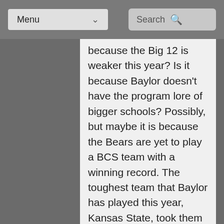Menu  Search
because the Big 12 is weaker this year? Is it because Baylor doesn't have the program lore of bigger schools? Possibly, but maybe it is because the Bears are yet to play a BCS team with a winning record. The toughest team that Baylor has played this year, Kansas State, took them down to the wire, and this Oklahoma team is much better. Which ever team has the better two-headed rushing attack will likely win as Sooner RBs Damien Williams and Roy Finch will be going against the Bear RBs Lache Seastrunk and Glasco Martin. With these great rushers all over the place , the most important one might be Sooner QB Blake Bell. Bell played his best game of the season last when he disposed of the Red Raiders in the air and on the ground, if he can have a similar game the Baylor defense will be in trouble. Art Briles'